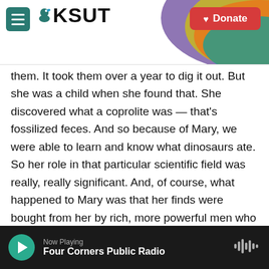[Figure (screenshot): KSUT public radio website header with hamburger menu, KSUT logo with bird icon, rainbow arc graphic, and red Donate button]
them. It took them over a year to dig it out. But she was a child when she found that. She discovered what a coprolite was — that's fossilized feces. And so because of Mary, we were able to learn and know what dinosaurs ate. So her role in that particular scientific field was really, really significant. And, of course, what happened to Mary was that her finds were bought from her by rich, more powerful men who claimed them for their own and therefore took credit. She never took credit for anything. They actually put their name on her finds.
Now Playing
Four Corners Public Radio